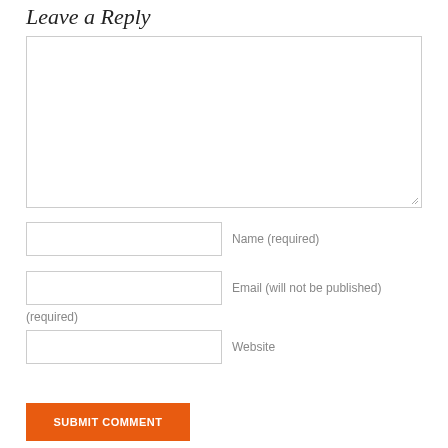Leave a Reply
[Figure (other): Large textarea input box for comment text, with a resize handle in the bottom-right corner]
Name (required)
Email (will not be published)
(required)
Website
SUBMIT COMMENT